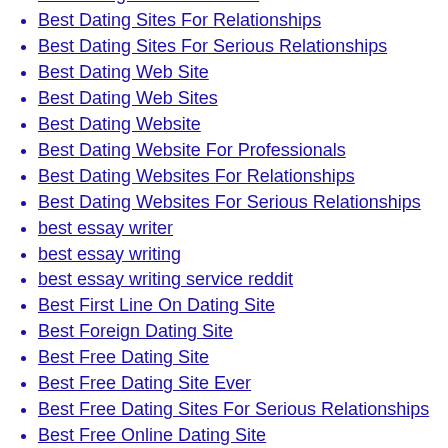best dating sites for over 40
Best Dating Sites For Relationships
Best Dating Sites For Serious Relationships
Best Dating Web Site
Best Dating Web Sites
Best Dating Website
Best Dating Website For Professionals
Best Dating Websites For Relationships
Best Dating Websites For Serious Relationships
best essay writer
best essay writing
best essay writing service reddit
Best First Line On Dating Site
Best Foreign Dating Site
Best Free Dating Site
Best Free Dating Site Ever
Best Free Dating Sites For Serious Relationships
Best Free Online Dating Site
Best Friend Dating Site
Best Herpes Dating Site
Best Hookup Apps review
best installment loan
best installment loans
best installment loans online